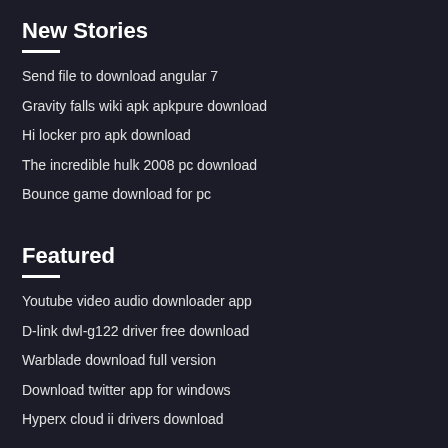New Stories
Send file to download angular 7
Gravity falls wiki apk apkpure download
Hi locker pro apk download
The incredible hulk 2008 pc download
Bounce game download for pc
Featured
Youtube video audio downloader app
D-link dwl-g122 driver free download
Warblade download full version
Download twitter app for windows
Hyperx cloud ii drivers download